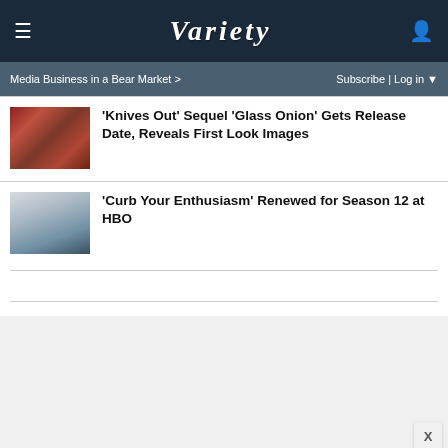VARIETY
Media Business in a Bear Market >
Subscribe | Log in
‘Knives Out’ Sequel ‘Glass Onion’ Gets Release Date, Reveals First Look Images
‘Curb Your Enthusiasm’ Renewed for Season 12 at HBO
[Figure (photo): Still from Glass Onion movie showing a dining scene with red decor]
[Figure (photo): Person standing in a light-filled interior space]
[Figure (advertisement): Men's Skincare Hack - Hide Acne for $24 - SPY advertisement]